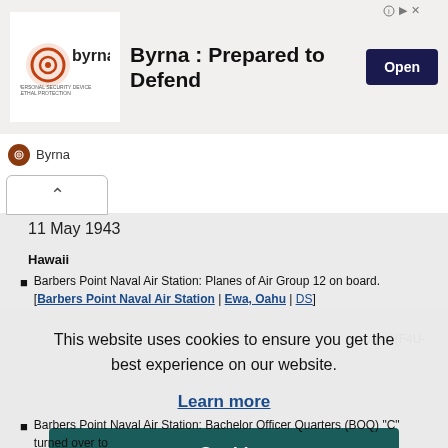[Figure (screenshot): Byrna advertisement banner — logo on left, 'Byrna : Prepared to Defend' text in center, dark blue 'Open' button on right. Byrna sponsor line below with icon and name.]
11 May 1943
Hawaii
Barbers Point Naval Air Station: Planes of Air Group 12 on board. [Barbers Point Naval Air Station | Ewa, Oahu | DS]
This website uses cookies to ensure you get the best experience on our website.
Learn more
Got it!
oard. (F4U-
Barbers Point Naval Air Station: Bachelor Officer Quarters (BOQ) "C" turned over to